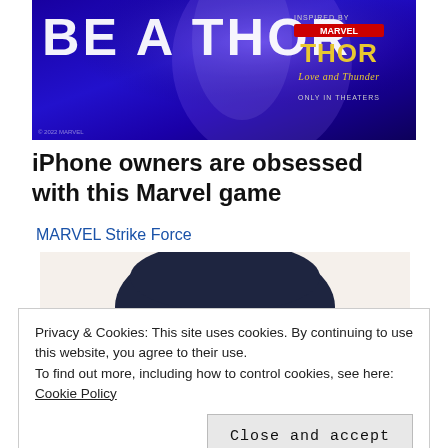[Figure (photo): Thor: Love and Thunder movie promotional banner with 'BE A THOR' text in white on blue/purple background, Marvel Studios logo and Thor movie logo on the right side]
iPhone owners are obsessed with this Marvel game
MARVEL Strike Force
[Figure (illustration): Illustrated character with white/silver hair wearing a large dark cowboy hat, looking upward, from a financial company advertisement]
Privacy & Cookies: This site uses cookies. By continuing to use this website, you agree to their use.
To find out more, including how to control cookies, see here: Cookie Policy
Close and accept